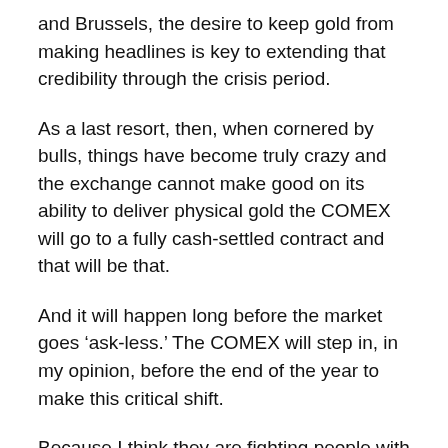and Brussels, the desire to keep gold from making headlines is key to extending that credibility through the crisis period.
As a last resort, then, when cornered by bulls, things have become truly crazy and the exchange cannot make good on its ability to deliver physical gold the COMEX will go to a fully cash-settled contract and that will be that.
And it will happen long before the market goes ‘ask-less.’ The COMEX will step in, in my opinion, before the end of the year to make this critical shift.
Because I think they are fighting people with deeper pockets than they’ve ever fought before.